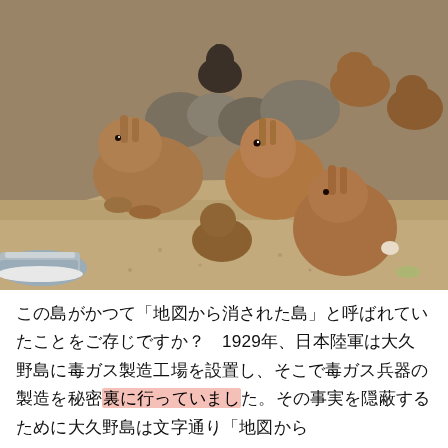[Figure (photo): A photograph showing a group of wild rabbits gathered on sandy/gravelly ground. Multiple brown rabbits of various sizes are clustered together, some appearing to eat. A person's shoe (grey sneaker) is visible at the lower left. In the background there are rocks and more rabbits.]
この島がかつて「地図から消された島」と呼ばれていたことをご存じですか？　1929年、日本陸軍は大久野島に毒ガス製造工場を設置し、そこで毒ガス兵器の製造を秘密裏に行っていました。その事実を隠蔽するために大久野島は文字通り「地図から